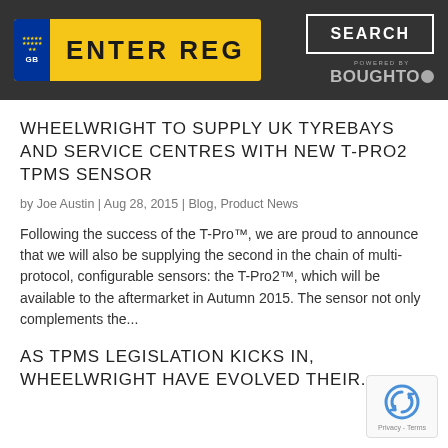[Figure (logo): Vehicle registration plate lookup widget with yellow ENTER REG plate and GB blue badge, plus SEARCH button and POWERED BY BOUGHTO logo on dark background]
WHEELWRIGHT TO SUPPLY UK TYREBAYS AND SERVICE CENTRES WITH NEW T-PRO2 TPMS SENSOR
by Joe Austin | Aug 28, 2015 | Blog, Product News
Following the success of the T-Pro™, we are proud to announce that we will also be supplying the second in the chain of multi-protocol, configurable sensors: the T-Pro2™, which will be available to the aftermarket in Autumn 2015. The sensor not only complements the...
AS TPMS LEGISLATION KICKS IN, WHEELWRIGHT HAVE EVOLVED THEIR...